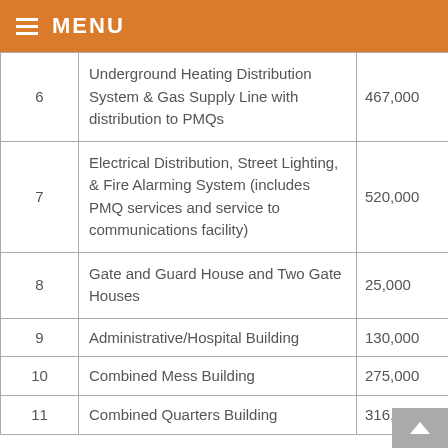MENU
| # | Description | Amount |
| --- | --- | --- |
| 6 | Underground Heating Distribution System & Gas Supply Line with distribution to PMQs | 467,000 |
| 7 | Electrical Distribution, Street Lighting, & Fire Alarming System (includes PMQ services and service to communications facility) | 520,000 |
| 8 | Gate and Guard House and Two Gate Houses | 25,000 |
| 9 | Administrative/Hospital Building | 130,000 |
| 10 | Combined Mess Building | 275,000 |
| 11 | Combined Quarters Building | 316,000 |